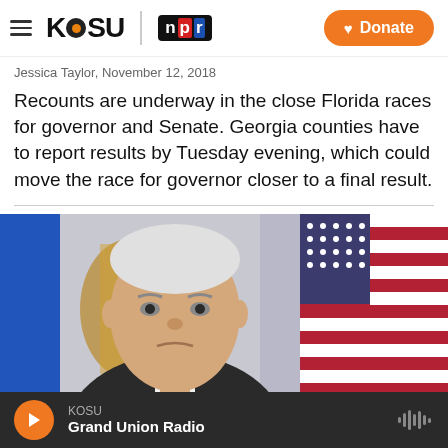KOSU | NPR — Donate
Jessica Taylor, November 12, 2018
Recounts are underway in the close Florida races for governor and Senate. Georgia counties have to report results by Tuesday evening, which could move the race for governor closer to a final result.
[Figure (photo): Man in suit with blue tie seated in front of flags including a US flag and what appears to be an Eastern European national flag; appears to be Vice President Mike Pence]
KOSU — Grand Union Radio (audio player bar)